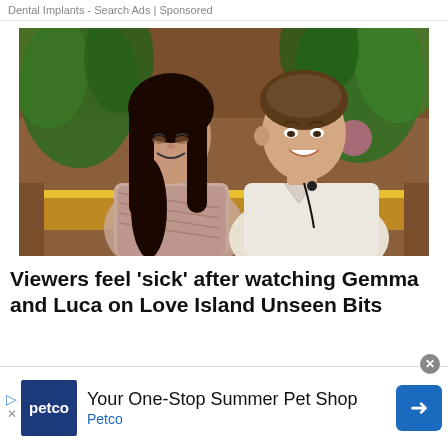Dental Implants - Search Ads | Sponsored
[Figure (photo): Two people (a woman with long dark hair and a man in a white polo shirt) sitting together smiling, with tropical plants in the background, from Love Island TV show.]
Viewers feel 'sick' after watching Gemma and Luca on Love Island Unseen Bits
[Figure (infographic): Petco advertisement banner: 'Your One-Stop Summer Pet Shop' with Petco logo, a play button, close button, and a blue arrow navigation button.]